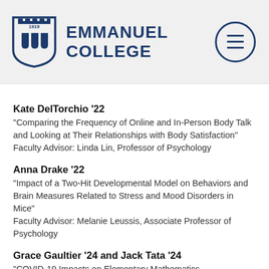Emmanuel College
Kate DelTorchio '22
"Comparing the Frequency of Online and In-Person Body Talk and Looking at Their Relationships with Body Satisfaction"
Faculty Advisor: Linda Lin, Professor of Psychology
Anna Drake '22
"Impact of a Two-Hit Developmental Model on Behaviors and Brain Measures Related to Stress and Mood Disorders in Mice"
Faculty Advisor: Melanie Leussis, Associate Professor of Psychology
Grace Gaultier '24 and Jack Tata '24
"COVID-19 Impacts on Elementary Mathematics